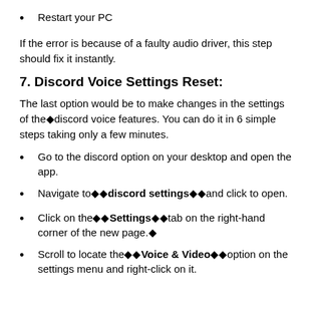Restart your PC
If the error is because of a faulty audio driver, this step should fix it instantly.
7. Discord Voice Settings Reset:
The last option would be to make changes in the settings of the◆discord voice features. You can do it in 6 simple steps taking only a few minutes.
Go to the discord option on your desktop and open the app.
Navigate to◆◆discord settings◆◆and click to open.
Click on the◆◆Settings◆◆tab on the right-hand corner of the new page.◆
Scroll to locate the◆◆Voice & Video◆◆option on the settings menu and right-click on it.